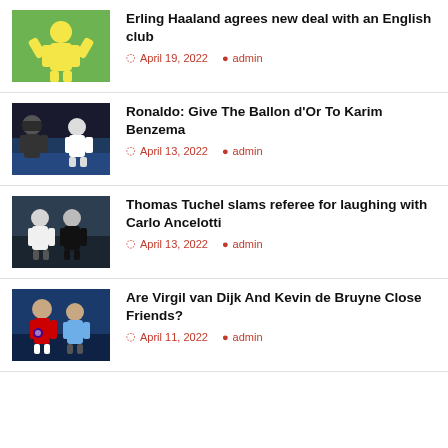Erling Haaland agrees new deal with an English club — April 19, 2022 — admin
Ronaldo: Give The Ballon d'Or To Karim Benzema — April 13, 2022 — admin
Thomas Tuchel slams referee for laughing with Carlo Ancelotti — April 13, 2022 — admin
Are Virgil van Dijk And Kevin de Bruyne Close Friends? — April 11, 2022 — admin